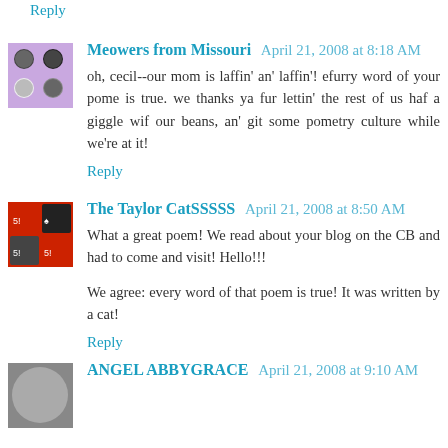Reply
Meowers from Missouri  April 21, 2008 at 8:18 AM
oh, cecil--our mom is laffin' an' laffin'! efurry word of your pome is true. we thanks ya fur lettin' the rest of us haf a giggle wif our beans, an' git some pometry culture while we're at it!
Reply
The Taylor CatSSSSS  April 21, 2008 at 8:50 AM
What a great poem! We read about your blog on the CB and had to come and visit! Hello!!!
We agree: every word of that poem is true! It was written by a cat!
Reply
ANGEL ABBYGRACE  April 21, 2008 at 9:10 AM